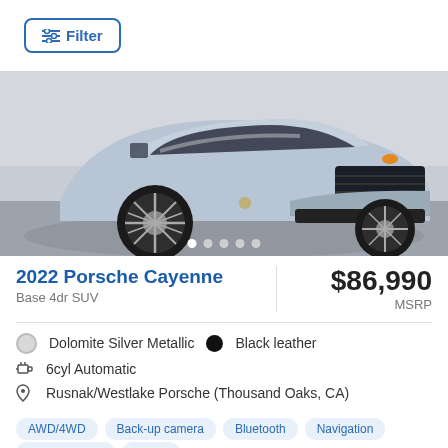Filter
[Figure (photo): Front quarter view of a silver Porsche Cayenne SUV on a showroom turntable, indoor setting with gray floor]
2022 Porsche Cayenne
Base 4dr SUV
$86,990
MSRP
Dolomite Silver Metallic  •  Black leather
6cyl Automatic
Rusnak/Westlake Porsche (Thousand Oaks, CA)
AWD/4WD
Back-up camera
Bluetooth
Navigation
Leather Seats
+more